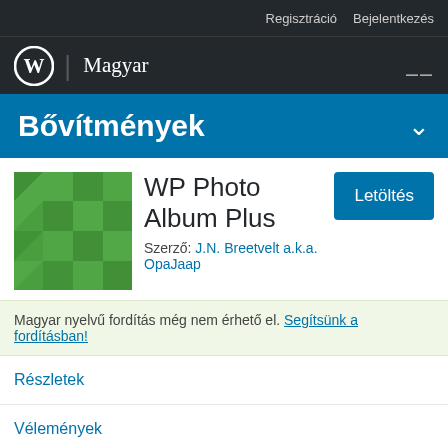Regisztráció   Bejelentkezés
Magyar
Bővítmények
WP Photo Album Plus
Szerző: J.N. Breetvelt a.k.a. OpaJaap
Magyar nyelvű fordítás még nem érhető el. Segítsünk a fordításban!
Részletek
Vélemények
Telepítés